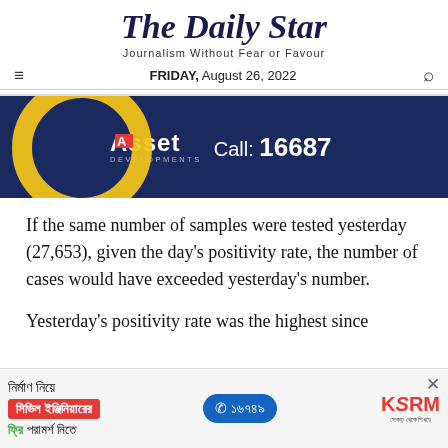The Daily Star
Journalism Without Fear or Favour
FRIDAY, August 26, 2022
[Figure (photo): Advertisement banner for Asset Developments with dark blue background, yellow arc/circle graphic on left, Asset Developments logo and 'Call: 16687' text]
If the same number of samples were tested yesterday (27,653), given the day's positivity rate, the number of cases would have exceeded yesterday's number.
Yesterday's positivity rate was the highest since
[Figure (photo): Bottom advertisement banner for KSRM construction services with Bengali text, phone number 16749, and KSRM logo]